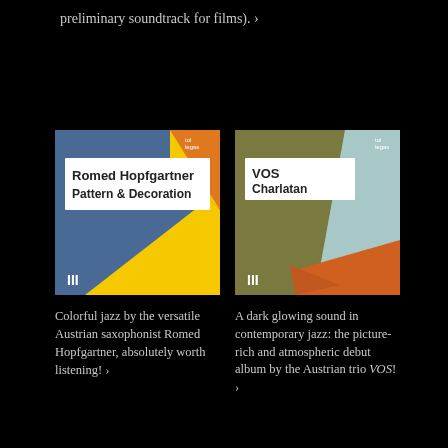preliminary soundtrack for films). ›
[Figure (illustration): Album cover for Romed Hopfgartner – Pattern & Decoration. Blue and yellow geometric shapes with orange accent, white label text on blue background, III mark at bottom left, small 'tol/legas' logo top right.]
[Figure (illustration): Album cover for VOS – Charlatan. Olive green, light blue, and orange geometric shapes, white label text on olive background, III mark at bottom left, small 'tol/legas' logo top right.]
Colorful jazz by the versatile Austrian saxophonist Romed Hopfgartner, absolutely worth listening! ›
A dark glowing sound in contemporary jazz: the picture-rich and atmospheric debut album by the Austrian trio VOS! ›